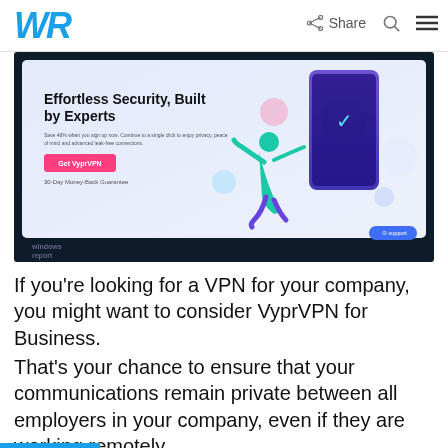WR | Share
[Figure (screenshot): VyprVPN website screenshot showing 'Effortless Security, Built by Experts' headline with a person jumping next to a phone graphic, a pink 'Get VyprVPN' button, and a blue support button in the lower right. Windows Report watermark in the bottom left.]
If you’re looking for a VPN for your company, you might want to consider VyprVPN for Business.
That’s your chance to ensure that your communications remain private between all employers in your company, even if they are working remotely.